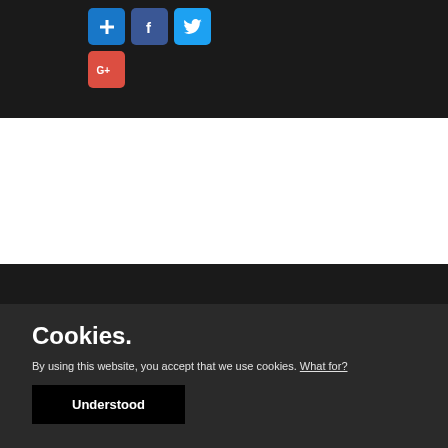[Figure (screenshot): Social media share buttons: a blue plus/add button, Facebook button, Twitter bird button, and a Google Plus (G+) red button arranged in a dark panel]
Cookies.
By using this website, you accept that we use cookies. What for?
Understood